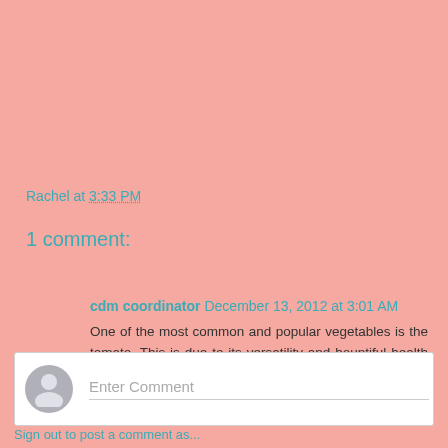Rachel at 3:33 PM
1 comment:
cdm coordinator December 13, 2012 at 3:01 AM
One of the most common and popular vegetables is the tomato. This is due to its versatility and bountiful health benefits.
Reply
Enter Comment
Sign out to post a comment as...